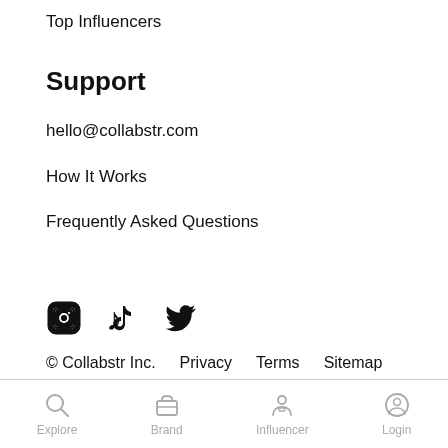Top Influencers
Support
hello@collabstr.com
How It Works
Frequently Asked Questions
[Figure (illustration): Social media icons: Instagram, TikTok, Twitter]
© Collabstr Inc.   Privacy   Terms   Sitemap
Explore  Brand  Influencer  Login